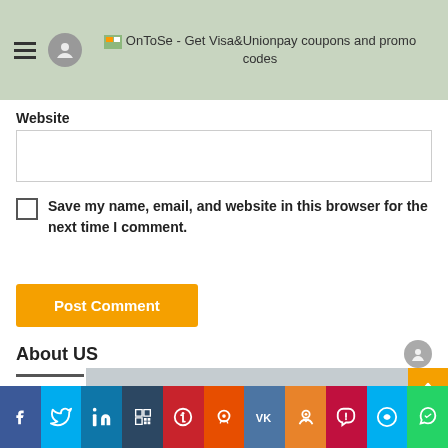OnToSe - Get Visa&Unionpay coupons and promo codes
Website
Save my name, email, and website in this browser for the next time I comment.
Post Comment
About US
[Figure (photo): Grey placeholder image block in the lower portion of the page]
Social share buttons: Facebook, Twitter, LinkedIn, Tumblr, Pinterest, Reddit, VK, Odnoklassniki, Pocket, Skype, WhatsApp